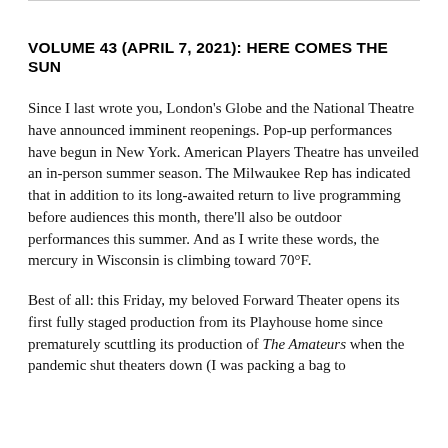VOLUME 43 (APRIL 7, 2021): HERE COMES THE SUN
Since I last wrote you, London's Globe and the National Theatre have announced imminent reopenings. Pop-up performances have begun in New York. American Players Theatre has unveiled an in-person summer season. The Milwaukee Rep has indicated that in addition to its long-awaited return to live programming before audiences this month, there'll also be outdoor performances this summer. And as I write these words, the mercury in Wisconsin is climbing toward 70°F.
Best of all: this Friday, my beloved Forward Theater opens its first fully staged production from its Playhouse home since prematurely scuttling its production of The Amateurs when the pandemic shut theaters down (I was packing a bag to